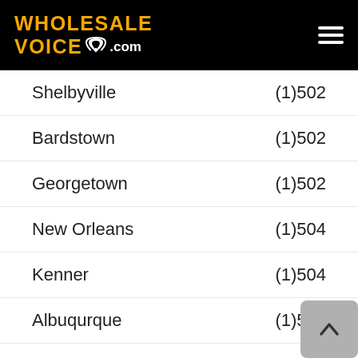WHOLESALE VOICE .com
Shelbyville — (1)502
Bardstown — (1)502
Georgetown — (1)502
New Orleans — (1)504
Kenner — (1)504
Albuqurque — (1)505
Santa Fe — (1)505
Farmington — (1)505
Gallup — (1)505
Rochester — (1)507
Wi... — (1)507